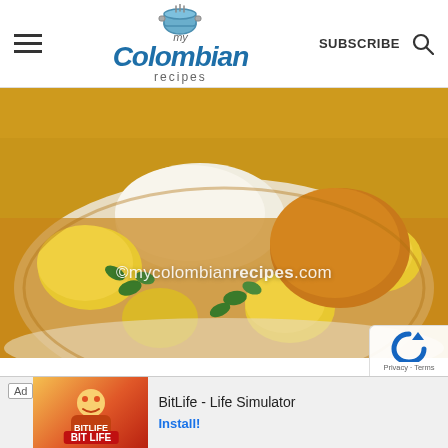my Colombian recipes | SUBSCRIBE
[Figure (photo): A plate of Colombian-style chicken stew (Sudado de Pollo) with potatoes, rice, and herbs in a golden broth, with watermark ©mycolombian recipes.com]
Sudado de Pollo (Colombian-Style Chicken Stew)
[Figure (infographic): Advertisement banner: BitLife - Life Simulator, with Install! button]